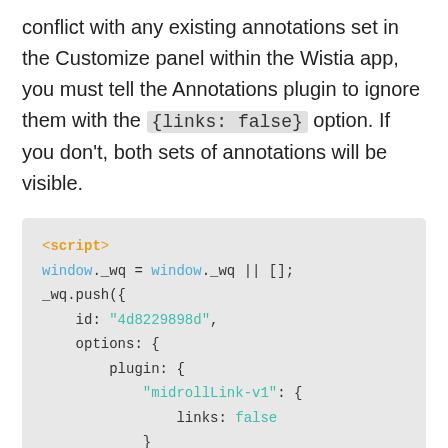conflict with any existing annotations set in the Customize panel within the Wistia app, you must tell the Annotations plugin to ignore them with the {links: false} option. If you don't, both sets of annotations will be visible.
[Figure (screenshot): Code block showing JavaScript snippet with window._wq push call including midrollLink-v1 plugin with links: false option]